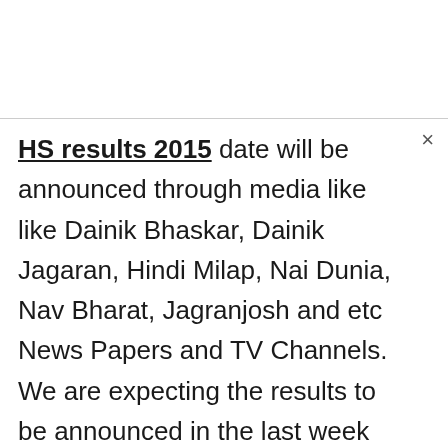HS results 2015 date will be announced through media like like Dainik Bhaskar, Dainik Jagaran, Hindi Milap, Nai Dunia, Nav Bharat, Jagranjosh and etc News Papers and TV Channels. We are expecting the results to be announced in the last week of May and their previous year also announced in the same.